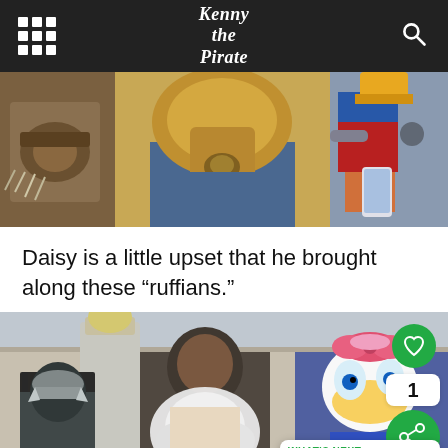Kenny the Pirate
[Figure (photo): Close-up photo of Disney character costumes/performers showing various fantasy and storybook outfits from the waist down]
Daisy is a little upset that he brought along these “ruffians.”
[Figure (photo): Photo of Disney performers in character costumes including a man in a white feather boa and Daisy Duck character at what appears to be a Disney park meet-and-greet]